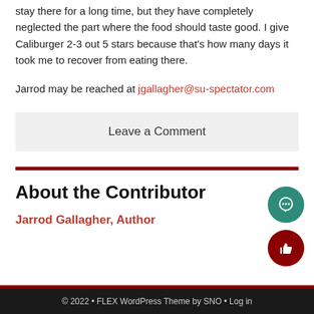stay there for a long time, but they have completely neglected the part where the food should taste good. I give Caliburger 2-3 out 5 stars because that's how many days it took me to recover from eating there.
Jarrod may be reached at jgallagher@su-spectator.com
Leave a Comment
About the Contributor
Jarrod Gallagher, Author
© 2022 • FLEX WordPress Theme by SNO • Log in